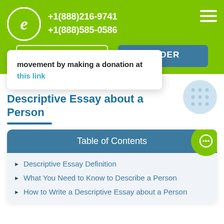+1(888)216-9741 +1(888)585-0586 LOGIN ORDER
movement by making a donation at this link
The Peculiarities of a Descriptive Essay about a Person
| Table of Contents |
| --- |
| Descriptive Essay Definition |
| What You Need to Know to Describe a Person |
| How to Write a Descriptive Essay about a Person |